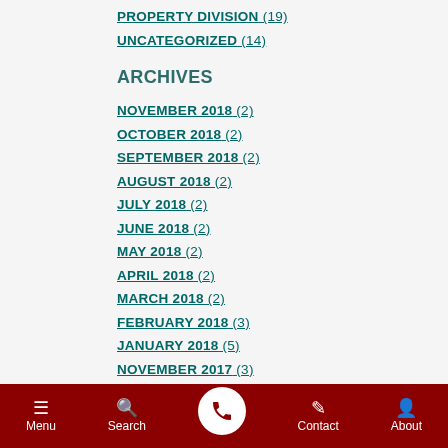PROPERTY DIVISION (19)
UNCATEGORIZED (14)
ARCHIVES
NOVEMBER 2018 (2)
OCTOBER 2018 (2)
SEPTEMBER 2018 (2)
AUGUST 2018 (2)
JULY 2018 (2)
JUNE 2018 (2)
MAY 2018 (2)
APRIL 2018 (2)
MARCH 2018 (2)
FEBRUARY 2018 (3)
JANUARY 2018 (5)
NOVEMBER 2017 (3)
Menu  Search  Contact  About